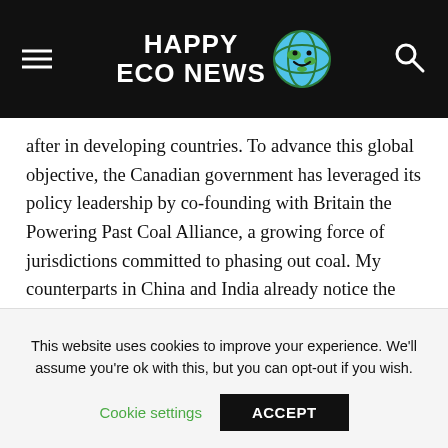Happy Eco News
after in developing countries. To advance this global objective, the Canadian government has leveraged its policy leadership by co-founding with Britain the Powering Past Coal Alliance, a growing force of jurisdictions committed to phasing out coal. My counterparts in China and India already notice the influence on their own countries' policies.
Global success depends, however, on co-ordinating electricity decarbonization with increasing its use in vehicles, buildings and industry. Our government understands this. In addition to its carbon tax, its clean fuel standard will
This website uses cookies to improve your experience. We'll assume you're ok with this, but you can opt-out if you wish.